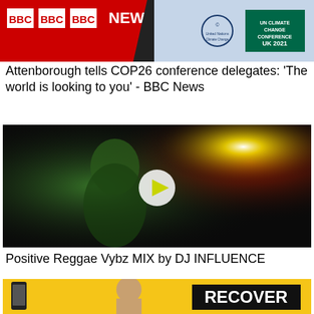[Figure (screenshot): BBC News thumbnail with COP26 Climate Conference branding]
Attenborough tells COP26 conference delegates: 'The world is looking to you' - BBC News
[Figure (screenshot): Reggae-themed video thumbnail with Bob Marley-like figure in green and red psychedelic background with play button overlay]
Positive Reggae Vybz MIX by DJ INFLUENCE
[Figure (screenshot): Yellow background thumbnail showing a person and the word RECOVER, with a phone on the left]